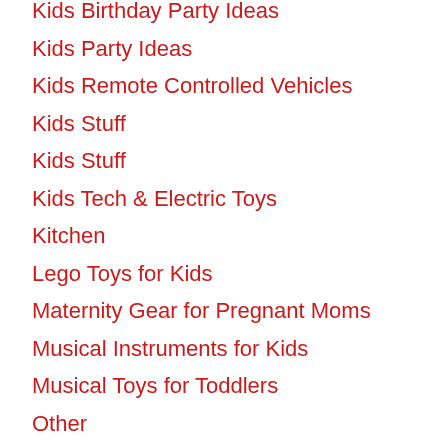Kids Birthday Party Ideas
Kids Party Ideas
Kids Remote Controlled Vehicles
Kids Stuff
Kids Stuff
Kids Tech & Electric Toys
Kitchen
Lego Toys for Kids
Maternity Gear for Pregnant Moms
Musical Instruments for Kids
Musical Toys for Toddlers
Other
Outdoor & Sports Toys for Kids
Outdoor Toys for Toddlers